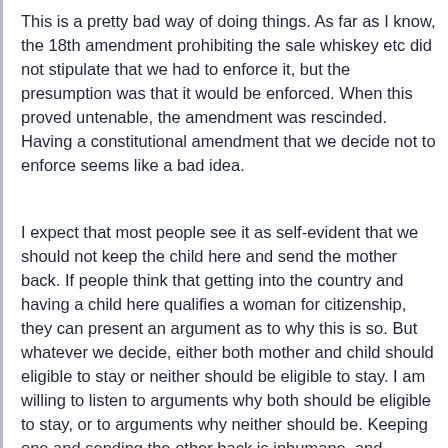This is a pretty bad way of doing things. As far as I know, the 18th amendment prohibiting the sale whiskey etc did not stipulate that we had to enforce it, but the presumption was that it would be enforced. When this proved untenable, the amendment was rescinded. Having a constitutional amendment that we decide not to enforce seems like a bad idea.
I expect that most people see it as self-evident that we should not keep the child here and send the mother back. If people think that getting into the country and having a child here qualifies a woman for citizenship, they can present an argument as to why this is so. But whatever we decide, either both mother and child should eligible to stay or neither should be eligible to stay. I am willing to listen to arguments why both should be eligible to stay, or to arguments why neither should be. Keeping one and sending the other back is inhumane, and circumventing the law to keep them together has many bad features, for example it is subject to change at the whim of a new president or a new congress. Such an approach creates disrespect for the law.
Those kids who achieved citizenship under current law would keep it. That's what we do when we make a mistake. But we can change